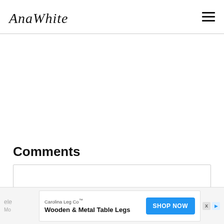AnaWhite — navigation header with hamburger menu
Comments
Comment input box
[Figure (screenshot): Advertisement banner: Carolina Leg Co™ — Wooden & Metal Table Legs — SHOP NOW button]